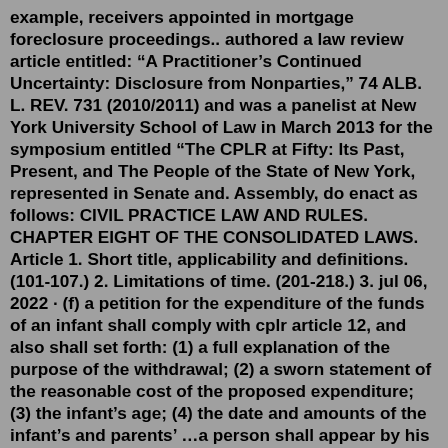example, receivers appointed in mortgage foreclosure proceedings.. authored a law review article entitled: “A Practitioner’s Continued Uncertainty: Disclosure from Nonparties,” 74 ALB. L. REV. 731 (2010/2011) and was a panelist at New York University School of Law in March 2013 for the symposium entitled “The CPLR at Fifty: Its Past, Present, and The People of the State of New York, represented in Senate and. Assembly, do enact as follows: CIVIL PRACTICE LAW AND RULES. CHAPTER EIGHT OF THE CONSOLIDATED LAWS. Article 1. Short title, applicability and definitions. (101-107.) 2. Limitations of time. (201-218.) 3. jul 06, 2022 · (f) a petition for the expenditure of the funds of an infant shall comply with cplr article 12, and also shall set forth: (1) a full explanation of the purpose of the withdrawal; (2) a sworn statement of the reasonable cost of the proposed expenditure; (3) the infant’s age; (4) the date and amounts of the infant’s and parents’ …a person shall appear by his guardian ad litem if he is